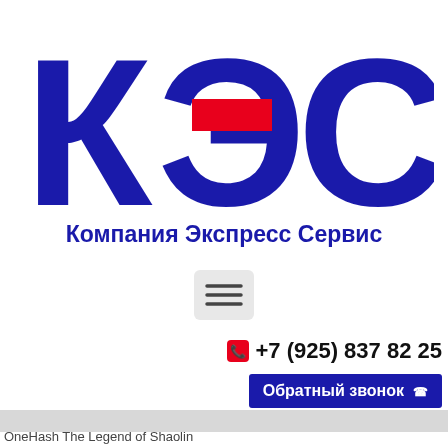[Figure (logo): КЭС logo with large dark blue Cyrillic letters К Э С and a red rectangle accent on the Э, with tagline Компания Экспресс Сервис below]
[Figure (screenshot): Hamburger menu icon button with three horizontal lines on a light grey rounded background]
+7 (925) 837 82 25
Обратный звонок
OneHash The Legend of Shaolin